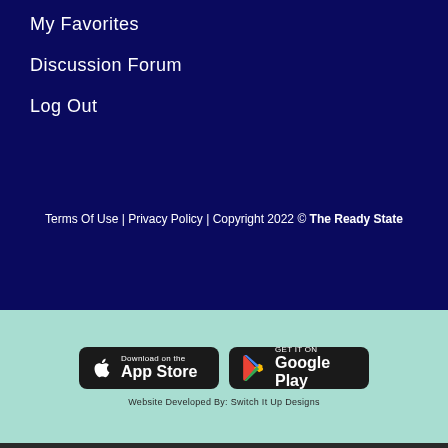My Favorites
Discussion Forum
Log Out
Terms Of Use | Privacy Policy | Copyright 2022 © The Ready State
[Figure (screenshot): Download on the App Store button (black rounded rectangle with Apple logo)]
[Figure (screenshot): GET IT ON Google Play button (black rounded rectangle with Google Play logo)]
Website Developed By: Switch It Up Designs